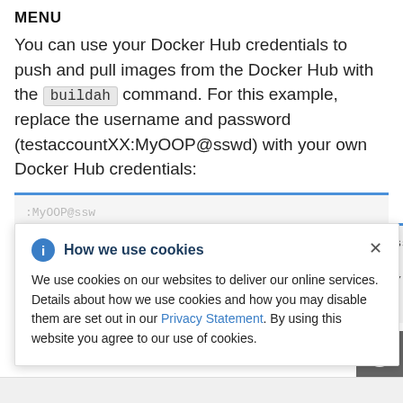MENU
You can use your Docker Hub credentials to push and pull images from the Docker Hub with the buildah command. For this example, replace the username and password (testaccountXX:MyOOP@sswd) with your own Docker Hub credentials:
[Figure (screenshot): Cookie consent popup overlay on top of a code block. The popup has a blue info icon, title 'How we use cookies', a close X button, and body text about cookie usage with a Privacy Statement link.]
n get and with either